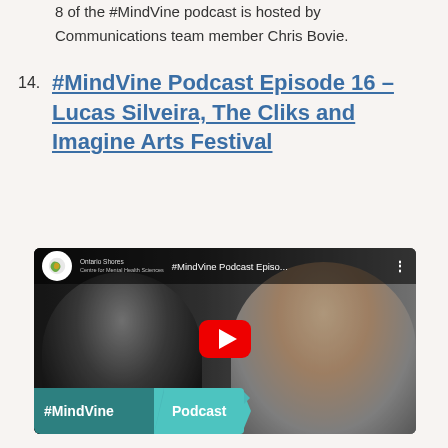8 of the #MindVine podcast is hosted by Communications team member Chris Bovie.
14. #MindVine Podcast Episode 16 - Lucas Silveira, The Cliks and Imagine Arts Festival
[Figure (screenshot): YouTube video thumbnail for #MindVine Podcast Episode 16, showing two people smiling. Bottom banner shows '#MindVine Podcast' branding.]